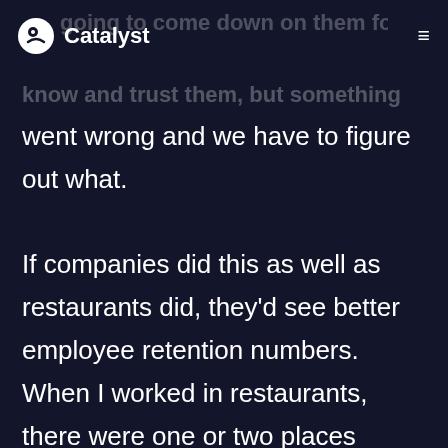Catalyst
going to come down on them for it. I know and trust them, but something went wrong and we have to figure out what.

If companies did this as well as restaurants did, they'd see better employee retention numbers. When I worked in restaurants, there were one or two places where the employees never left. Turnover was low because it's like a